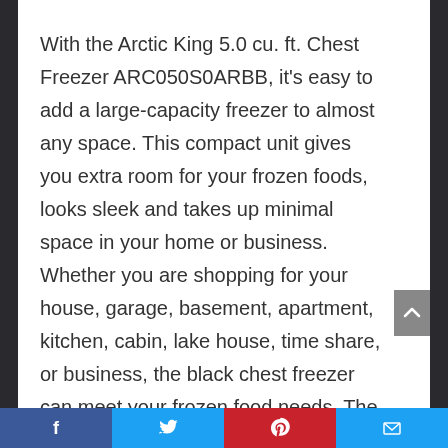With the Arctic King 5.0 cu. ft. Chest Freezer ARC050S0ARBB, it's easy to add a large-capacity freezer to almost any space. This compact unit gives you extra room for your frozen foods, looks sleek and takes up minimal space in your home or business. Whether you are shopping for your house, garage, basement, apartment, kitchen, cabin, lake house, time share, or business, the black chest freezer can meet your frozen food needs. The removable storage basket, easy-access defrost drain, easy-clean interior and gasket and recessed handle empower effortless use. The sleek black color blends
Facebook | Twitter | Pinterest | Email